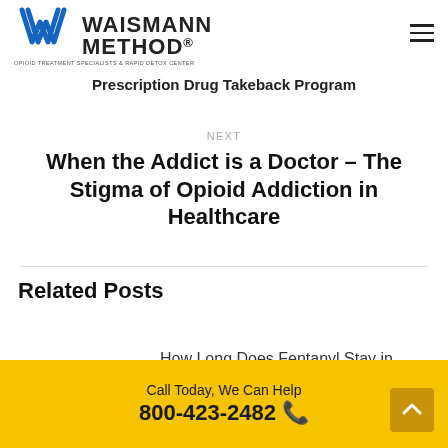Waismann Method® — Opioid Treatment Specialists & Rapid Detox Center
Prescription Drug Takeback Program
NEXT
When the Addict is a Doctor – The Stigma of Opioid Addiction in Healthcare
Related Posts
How Long Does Fentanyl Stay in
Call Today, We Can Help
800-423-2482